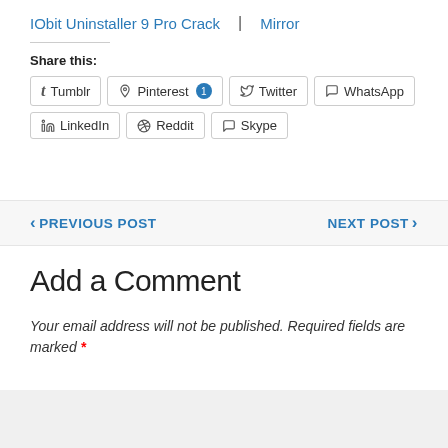IObit Uninstaller 9 Pro Crack  |  Mirror
Share this:
[Figure (screenshot): Social share buttons: Tumblr, Pinterest 1, Twitter, WhatsApp, LinkedIn, Reddit, Skype]
PREVIOUS POST
NEXT POST
Add a Comment
Your email address will not be published. Required fields are marked *